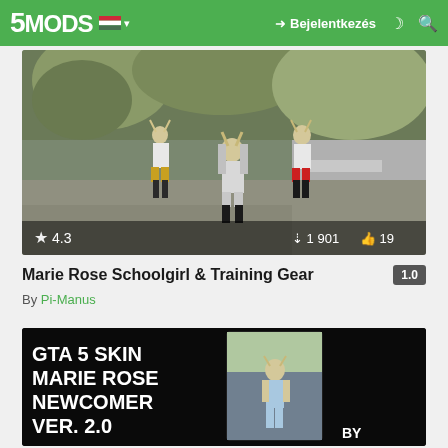5MODS  Bejelentkezés
[Figure (screenshot): Screenshot of three Marie Rose character skins walking in GTA 5 outdoor environment. Bottom bar shows rating 4.3, downloads 1 901, likes 19.]
Marie Rose Schoolgirl & Training Gear  1.0
By Pi-Manus
[Figure (screenshot): Black background video thumbnail showing text 'GTA 5 SKIN MARIE ROSE NEWCOMER VER. 2.0' on left side, and a character screenshot on the right, with 'BY' text at bottom right.]